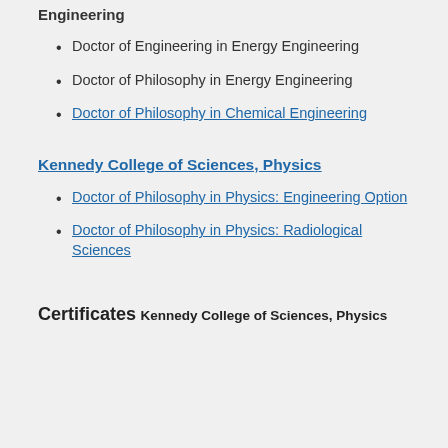Engineering
Doctor of Engineering in Energy Engineering
Doctor of Philosophy in Energy Engineering
Doctor of Philosophy in Chemical Engineering
Kennedy College of Sciences, Physics
Doctor of Philosophy in Physics: Engineering Option
Doctor of Philosophy in Physics: Radiological Sciences
Certificates
Kennedy College of Sciences, Physics